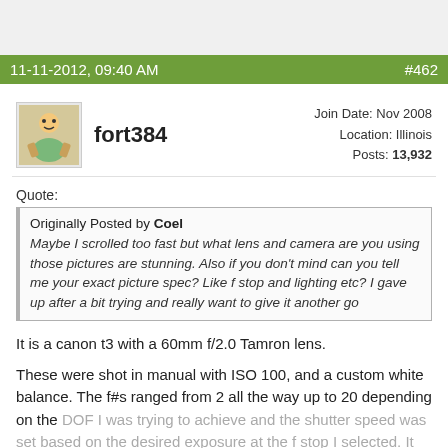11-11-2012, 09:40 AM   #462
[Figure (illustration): Avatar image of user fort384 - small illustrated cartoon character]
fort384
Join Date: Nov 2008
Location: Illinois
Posts: 13,932
Quote:
Originally Posted by Coel
Maybe I scrolled too fast but what lens and camera are you using those pictures are stunning. Also if you don't mind can you tell me your exact picture spec? Like f stop and lighting etc? I gave up after a bit trying and really want to give it another go
It is a canon t3 with a 60mm f/2.0 Tamron lens.
These were shot in manual with ISO 100, and a custom white balance. The f#s ranged from 2 all the way up to 20 depending on the DOF I was trying to achieve and the shutter speed was set based on the desired exposure at the f stop I selected. It varied from 1/80 all the way up to 15".